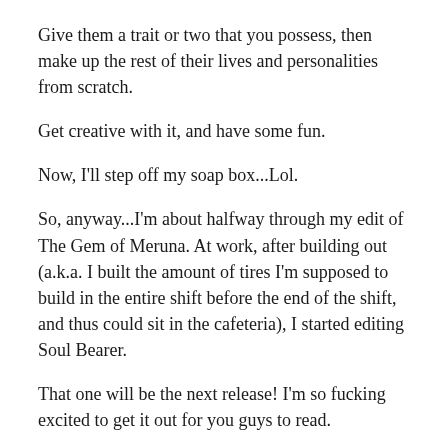Give them a trait or two that you possess, then make up the rest of their lives and personalities from scratch.
Get creative with it, and have some fun.
Now, I'll step off my soap box...Lol.
So, anyway...I'm about halfway through my edit of The Gem of Meruna. At work, after building out (a.k.a. I built the amount of tires I'm supposed to build in the entire shift before the end of the shift, and thus could sit in the cafeteria), I started editing Soul Bearer.
That one will be the next release! I'm so fucking excited to get it out for you guys to read.
I'll be doing a challenge on IG and FB (challenge set forth by World Indie Warriors) in July, wherein I'll begin talking about the protagonists during about each giving a sneak and